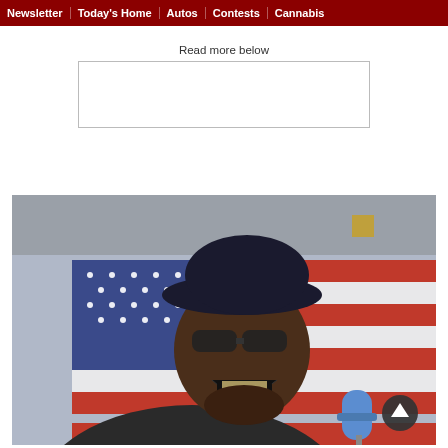Newsletter | Today's Home | Autos | Contests | Cannabis
Read more below
[Figure (photo): A man wearing sunglasses and a dark baseball cap singing or laughing joyfully in front of a large American flag, with a microphone visible in the foreground and stadium structure visible in the background on a rainy day.]